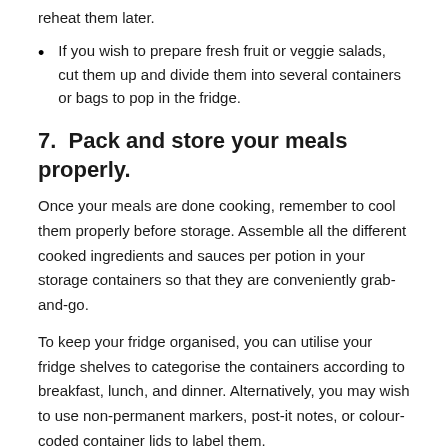reheat them later.
If you wish to prepare fresh fruit or veggie salads, cut them up and divide them into several containers or bags to pop in the fridge.
7. Pack and store your meals properly.
Once your meals are done cooking, remember to cool them properly before storage. Assemble all the different cooked ingredients and sauces per potion in your storage containers so that they are conveniently grab-and-go.
To keep your fridge organised, you can utilise your fridge shelves to categorise the containers according to breakfast, lunch, and dinner. Alternatively, you may wish to use non-permanent markers, post-it notes, or colour-coded container lids to label them.